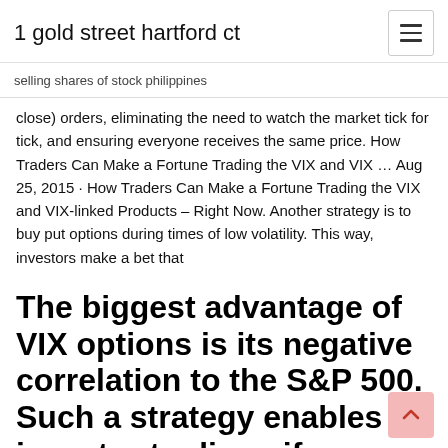1 gold street hartford ct
selling shares of stock philippines
close) orders, eliminating the need to watch the market tick for tick, and ensuring everyone receives the same price. How Traders Can Make a Fortune Trading the VIX and VIX ... Aug 25, 2015 · How Traders Can Make a Fortune Trading the VIX and VIX-linked Products – Right Now. Another strategy is to buy put options during times of low volatility. This way, investors make a bet that
The biggest advantage of VIX options is its negative correlation to the S&P 500. Such a strategy enables an investor to diversify his/her portfolio and